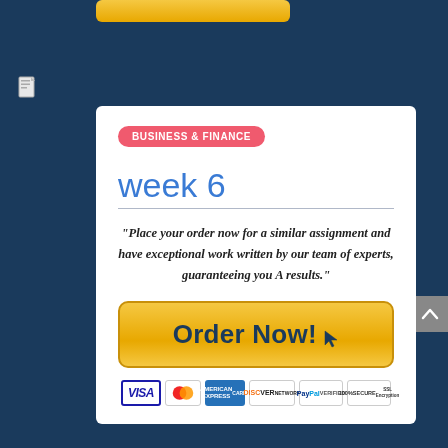BUSINESS & FINANCE
week 6
"Place your order now for a similar assignment and have exceptional work written by our team of experts, guaranteeing you A results."
[Figure (other): Orange 'Order Now!' button with cursor icon]
[Figure (other): Payment badges: VISA, MasterCard, American Express, Discover, PayPal Verified, 100% Secure SSL Encryption]